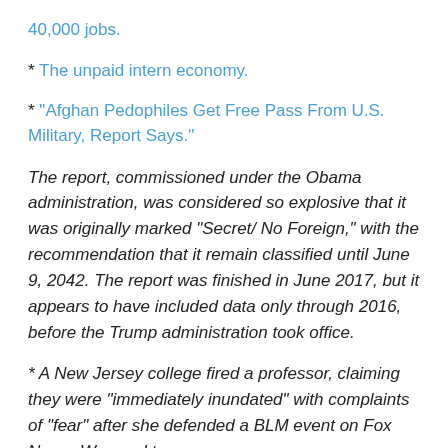40,000 jobs.
* The unpaid intern economy.
* “Afghan Pedophiles Get Free Pass From U.S. Military, Report Says.”
The report, commissioned under the Obama administration, was considered so explosive that it was originally marked “Secret/ No Foreign,” with the recommendation that it remain classified until June 9, 2042. The report was finished in June 2017, but it appears to have included data only through 2016, before the Trump administration took office.
* A New Jersey college fired a professor, claiming they were “immediately inundated” with complaints of “fear” after she defended a BLM event on Fox News. We sued to